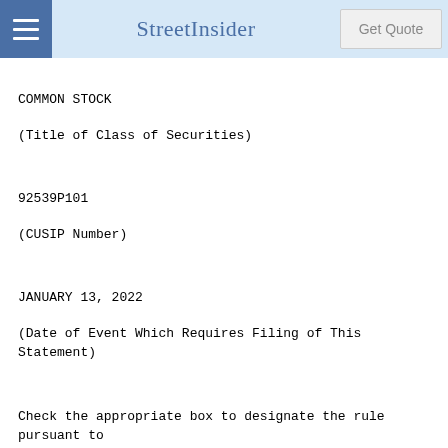StreetInsider
COMMON STOCK
(Title of Class of Securities)
92539P101
(CUSIP Number)
JANUARY 13, 2022
(Date of Event Which Requires Filing of This Statement)
Check the appropriate box to designate the rule pursuant to which this Schedule is filed: